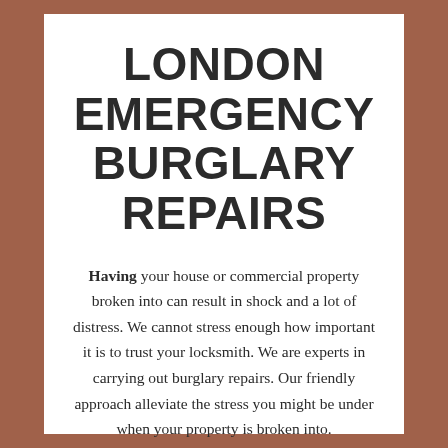LONDON EMERGENCY BURGLARY REPAIRS
Having your house or commercial property broken into can result in shock and a lot of distress. We cannot stress enough how important it is to trust your locksmith. We are experts in carrying out burglary repairs. Our friendly approach alleviate the stress you might be under when your property is broken into.